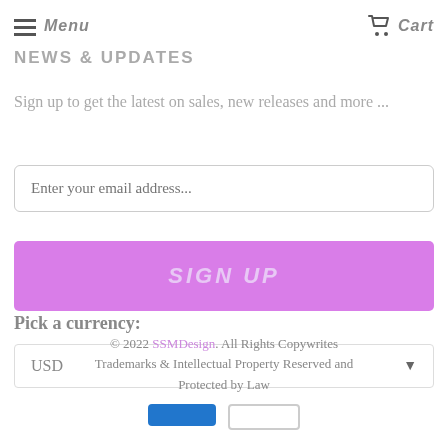Menu  Cart
NEWS & UPDATES
Sign up to get the latest on sales, new releases and more ...
Enter your email address...
SIGN UP
Pick a currency:
USD
© 2022 SSMDesign. All Rights Copywrites Trademarks & Intellectual Property Reserved and Protected by Law